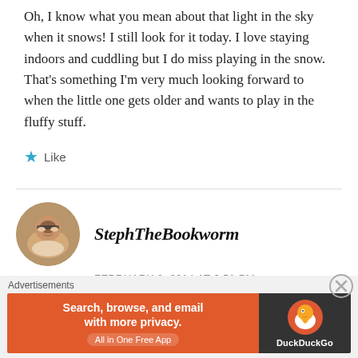Oh, I know what you mean about that light in the sky when it snows! I still look for it today. I love staying indoors and cuddling but I do miss playing in the snow. That's something I'm very much looking forward to when the little one gets older and wants to play in the fluffy stuff.
★ Like
StephTheBookworm
FEBRUARY 6, 2014 AT 6:51 PM
[Figure (photo): Circular avatar photo of a woman with glasses, smiling]
Advertisements
Search, browse, and email with more privacy. All in One Free App — DuckDuckGo